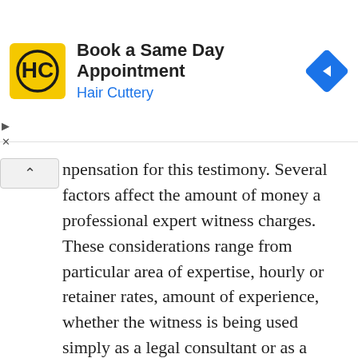[Figure (other): Advertisement banner for Hair Cuttery: 'Book a Same Day Appointment' with HC logo and navigation arrow icon]
npensation for this testimony. Several factors affect the amount of money a professional expert witness charges. These considerations range from particular area of expertise, hourly or retainer rates, amount of experience, whether the witness is being used simply as a legal consultant or as a witness on the stand, and the amount of travel necessary to get to court.